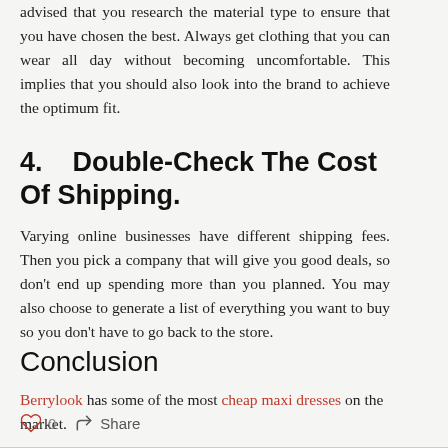advised that you research the material type to ensure that you have chosen the best. Always get clothing that you can wear all day without becoming uncomfortable. This implies that you should also look into the brand to achieve the optimum fit.
4.   Double-Check The Cost Of Shipping.
Varying online businesses have different shipping fees. Then you pick a company that will give you good deals, so don't end up spending more than you planned. You may also choose to generate a list of everything you want to buy so you don't have to go back to the store.
Conclusion
Berrylook has some of the most cheap maxi dresses on the market.
0   Share